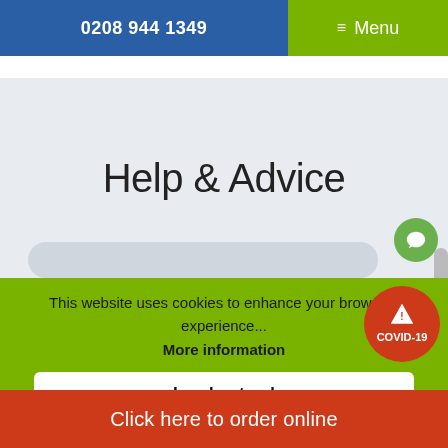0208 944 1349  ≡ Menu
Help & Advice
This website uses cookies to enhance your browsing experience...
More information
I understand
[Figure (infographic): COVID-19 warning badge (orange circle with exclamation triangle and COVID-19 text)]
Click here to order online